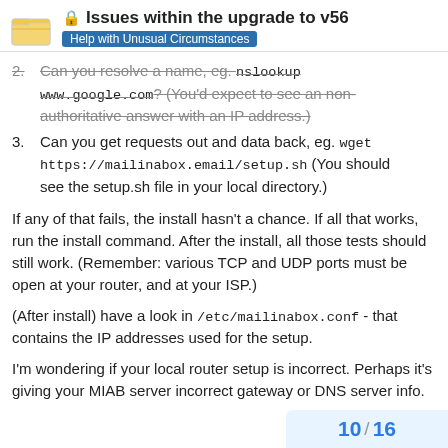Issues within the upgrade to v56 — Help with Unusual Circumstances
2. Can you resolve a name, eg. nslookup www.google.com? (You'd expect to see an non-authoritative answer with an IP address.)
3. Can you get requests out and data back, eg. wget https://mailinabox.email/setup.sh (You should see the setup.sh file in your local directory.)
If any of that fails, the install hasn't a chance. If all that works, run the install command. After the install, all those tests should still work. (Remember: various TCP and UDP ports must be open at your router, and at your ISP.)
(After install) have a look in /etc/mailinabox.conf - that contains the IP addresses used for the setup.
I'm wondering if your local router setup is incorrect. Perhaps it's giving your MIAB server incorrect gateway or DNS server info.
10 / 16